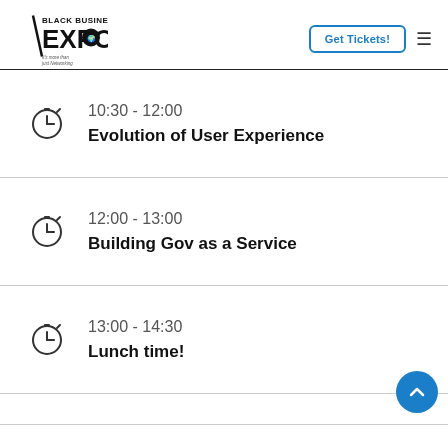Black Business Expo — Get Tickets! [nav]
10:30 - 12:00 — Evolution of User Experience
12:00 - 13:00 — Building Gov as a Service
13:00 - 14:30 — Lunch time!